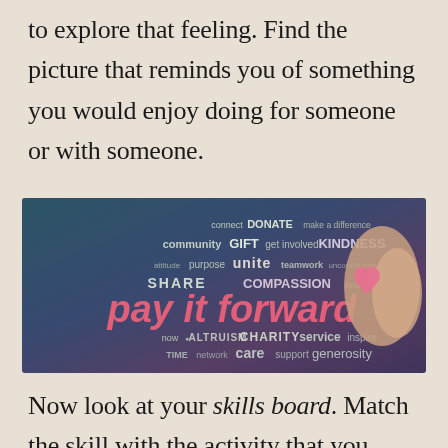to explore that feeling. Find the picture that reminds you of something you would enjoy doing for someone or with someone.
[Figure (photo): Word cloud image with 'pay it forward' in large pink text on a dark teal/purple background, surrounded by words like connect, DONATE, community, GIFT, KINDNESS, SHARE, COMPASSION, ALTRUISM, CHARITY, service, generosity, etc. On the right side are two hands forming a heart shape with a pink paper heart.]
Now look at your skills board. Match the skill with the activity that you could do for someone else. Where does the joyful activity and the talent intersect? Where